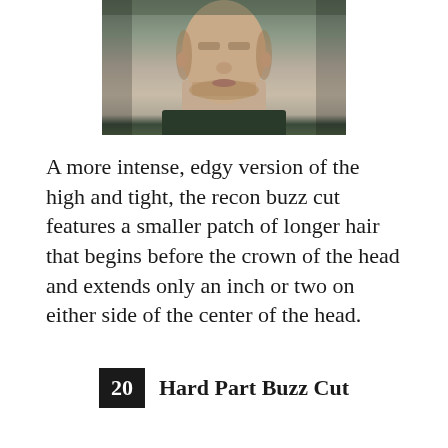[Figure (photo): Close-up photo of a man's face and neck, cropped at the top showing from chin to upper chest, with short stubble beard, wearing a dark top, against a blurred outdoor background.]
A more intense, edgy version of the high and tight, the recon buzz cut features a smaller patch of longer hair that begins before the crown of the head and extends only an inch or two on either side of the center of the head.
20 Hard Part Buzz Cut